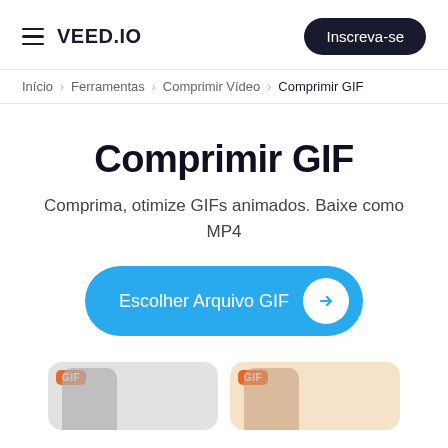VEED.IO  Inscreva-se
Início > Ferramentas > Comprimir Vídeo > Comprimir GIF
Comprimir GIF
Comprima, otimize GIFs animados. Baixe como MP4
Escolher Arquivo GIF
[Figure (screenshot): Two preview cards showing GIF file thumbnails with person silhouettes, one gray background and one peach/orange background, each with an orange GIF badge.]